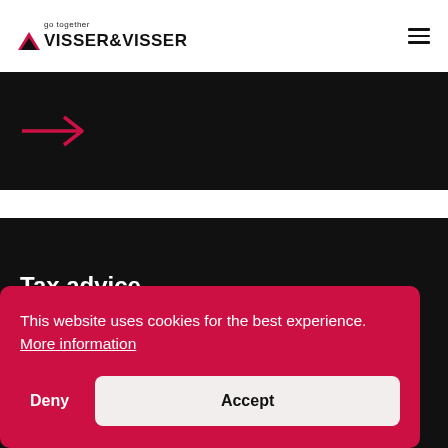go together | VISSER&VISSER
[Figure (other): Dark banner with a red right-arrow icon]
Tax advice
This website uses cookies for the best experience. More information
Deny
Accept